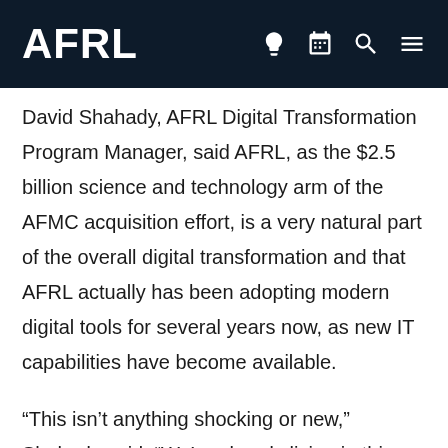AFRL
David Shahady, AFRL Digital Transformation Program Manager, said AFRL, as the $2.5 billion science and technology arm of the AFMC acquisition effort, is a very natural part of the overall digital transformation and that AFRL actually has been adopting modern digital tools for several years now, as new IT capabilities have become available.
“This isn’t anything shocking or new,” Shahady said. “We’re already living in this reality. So, the digital